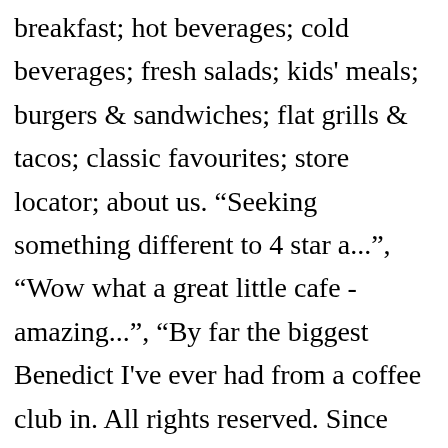breakfast; hot beverages; cold beverages; fresh salads; kids' meals; burgers & sandwiches; flat grills & tacos; classic favourites; store locator; about us. “Seeking something different to 4 star a...", “Wow what a great little cafe - amazing...", “By far the biggest Benedict I've ever had from a coffee club in. All rights reserved. Since opening its doors in Brisbane in 1989, THE COFFEE CLUB has become Australia’s largest home-grown café group with approximately 400 stores throughout 9 countries, with upwards … We do not inflate prices to give away stuff. Lemon Butter